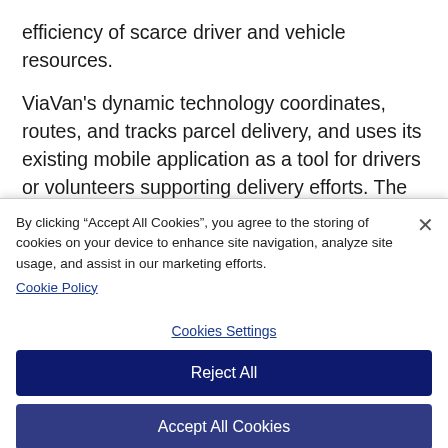efficiency of scarce driver and vehicle resources.
ViaVan's dynamic technology coordinates, routes, and tracks parcel delivery, and uses its existing mobile application as a tool for drivers or volunteers supporting delivery efforts. The ViaVan mobile app presents a list of delivery tasks, starting with parcel pickup instructions. Once parcels are collected, drivers follow an efficient route for cost-effective and reliable delivery.
By clicking "Accept All Cookies", you agree to the storing of cookies on your device to enhance site navigation, analyze site usage, and assist in our marketing efforts. Cookie Policy
Cookies Settings
Reject All